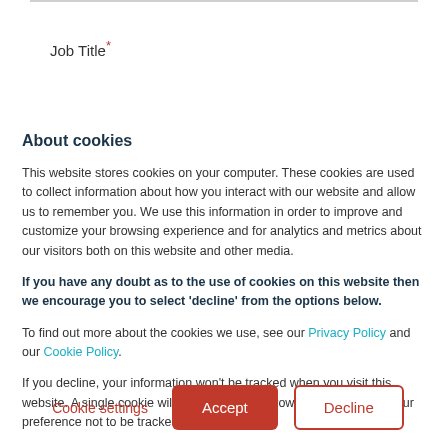Job Title*
About cookies
This website stores cookies on your computer. These cookies are used to collect information about how you interact with our website and allow us to remember you. We use this information in order to improve and customize your browsing experience and for analytics and metrics about our visitors both on this website and other media.
If you have any doubt as to the use of cookies on this website then we encourage you to select 'decline' from the options below.
To find out more about the cookies we use, see our Privacy Policy and our Cookie Policy.
If you decline, your information won't be tracked when you visit this website. A single cookie will be used in your browser to remember your preference not to be tracked.
Cookie settings  Accept  Decline